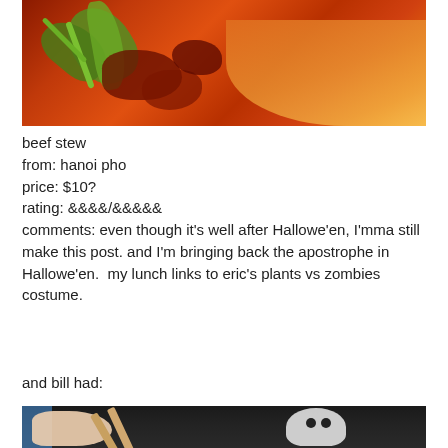[Figure (photo): Close-up photo of beef stew with red/orange broth and green herb garnish on a white plate]
beef stew
from: hanoi pho
price: $10?
rating: &&&&/&&&&&
comments: even though it's well after Hallowe'en, I'mma still make this post. and I'm bringing back the apostrophe in Hallowe'en.  my lunch links to eric's plants vs zombies costume.
and bill had:
[Figure (photo): Photo of a person wearing a black t-shirt with a ghost character, holding chopsticks]